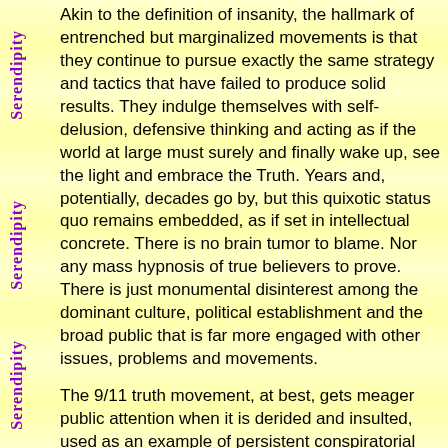Akin to the definition of insanity, the hallmark of entrenched but marginalized movements is that they continue to pursue exactly the same strategy and tactics that have failed to produce solid results. They indulge themselves with self-delusion, defensive thinking and acting as if the world at large must surely and finally wake up, see the light and embrace the Truth. Years and, potentially, decades go by, but this quixotic status quo remains embedded, as if set in intellectual concrete. There is no brain tumor to blame. Nor any mass hypnosis of true believers to prove. There is just monumental disinterest among the dominant culture, political establishment and the broad public that is far more engaged with other issues, problems and movements.
The 9/11 truth movement, at best, gets meager public attention when it is derided and insulted, used as an example of persistent conspiratorial insanity.
Make no mistake; I concluded a few years back, after using my professional engineering and materials science background to study the evidence, that the official government story is a lie. As a former full professor of engineering, I firmly believe that